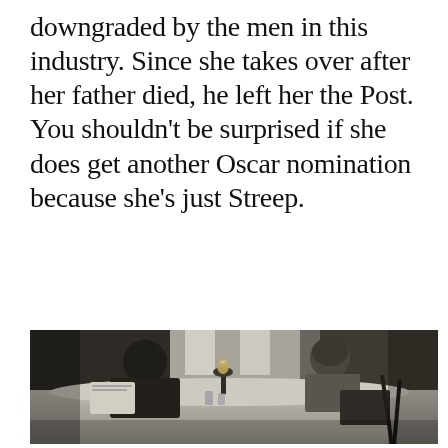downgraded by the men in this industry. Since she takes over after her father died, he left her the Post. You shouldn't be surprised if she does get another Oscar nomination because she's just Streep.
[Figure (photo): A black-and-white toned cinematic still showing two people seated at a table with a white tablecloth in a formal dining setting. On the left is a man in a dark suit holding papers. On the right is a woman with short wavy hair wearing a light cardigan. A lamp glows on the table between them. Background shows windows and other figures out of focus.]